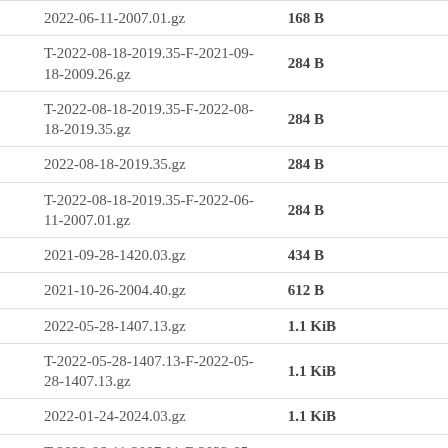| Filename | Size |
| --- | --- |
| 2022-06-11-2007.01.gz | 168 B |
| T-2022-08-18-2019.35-F-2021-09-18-2009.26.gz | 284 B |
| T-2022-08-18-2019.35-F-2022-08-18-2019.35.gz | 284 B |
| 2022-08-18-2019.35.gz | 284 B |
| T-2022-08-18-2019.35-F-2022-06-11-2007.01.gz | 284 B |
| 2021-09-28-1420.03.gz | 434 B |
| 2021-10-26-2004.40.gz | 612 B |
| 2022-05-28-1407.13.gz | 1.1 KiB |
| T-2022-05-28-1407.13-F-2022-05-28-1407.13.gz | 1.1 KiB |
| 2022-01-24-2024.03.gz | 1.1 KiB |
| T-2022-06-11-2007.01-F-2022-05-28-1407.13.gz | 1.1 KiB |
| T-2022-06-11-2007.01-F-2022-03-26-2012.00.gz | 1.1 KiB |
| T-2022-05-28-1407.13-F-2022-03-26-2012.00.gz | 1.1 KiB |
| T-2022-06-11-2007.01-F-2022-01-24-2024.03 | 1.2 KiB |